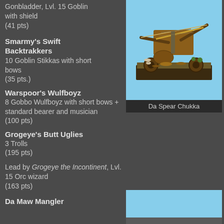Gonbladder, Lvl. 15 Goblin with shield
(41 pts)
[Figure (photo): Painted miniature of Da Spear Chukka - a wooden goblin war machine ballista on a scenic base]
Da Spear Chukka
Smarmy's Swift Backtrakkers
10 Goblin Stikkas with short bows
(35 pts.)
Warspoor's Wulfboyz
8 Gobbo Wulfboyz with short bows + standard bearer and musician
(100 pts)
Grogeye's Butt Uglies
3 Trolls
(195 pts)
Lead by Grogeye the Incontinent, Lvl. 15 Orc wizard
(163 pts)
Da Maw Mangler
[Figure (photo): Partial view of another painted miniature on a sky blue background]